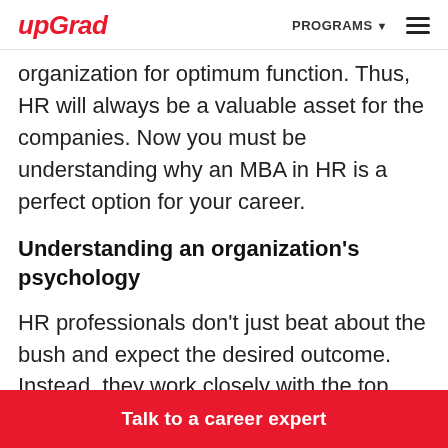upGrad | PROGRAMS ☰
organization for optimum function. Thus, HR will always be a valuable asset for the companies. Now you must be understanding why an MBA in HR is a perfect option for your career.
Understanding an organization's psychology
HR professionals don't just beat about the bush and expect the desired outcome. Instead, they work closely with the top executives to understand the brand's purpose and objective
Talk to a career expert